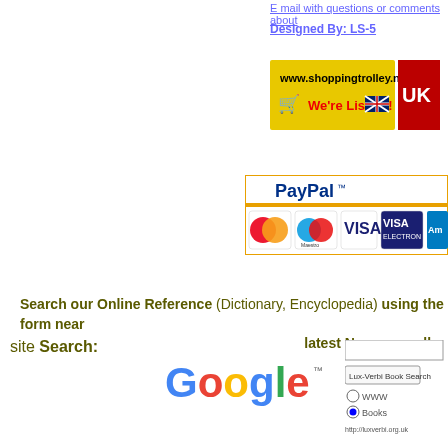E mail with questions or comments about
Designed By: LS-5
[Figure (screenshot): www.shoppingtrolley.net banner - 'We're Listed!' with UK flag and shopping cart icon, yellow background]
[Figure (screenshot): PayPal payment accepted banner showing MasterCard, Maestro, VISA, VISA Electron, American Express logos]
Search our Online Reference (Dictionary, Encyclopedia) using the form near latest News as well.
site Search:
[Figure (logo): Google logo with trademark symbol]
[Figure (screenshot): Google search box with 'Lux-Verbi Book Search' button, WWW and Books radio buttons, http://luxverbi.org.uk]